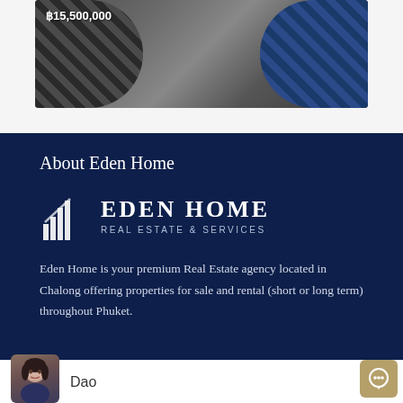[Figure (photo): Property interior photo showing two chairs with striped pattern, price overlay ฿15,500,000]
About Eden Home
[Figure (logo): Eden Home Real Estate & Services logo with building/bars icon in white on navy background]
Eden Home is your premium Real Estate agency located in Chalong offering properties for sale and rental (short or long term) throughout Phuket.
[Figure (photo): Agent photo of Dao]
Dao